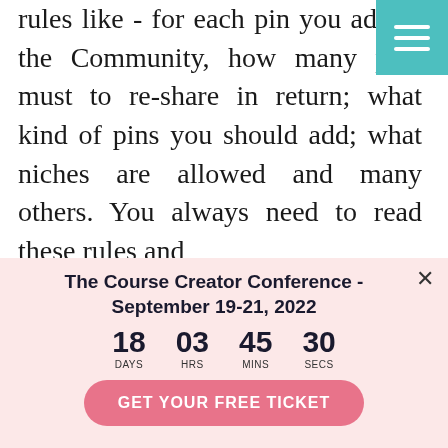rules like - for each pin you add to the Community, how many pins must to re-share in return; what kind of pins you should add; what niches are allowed and many others. You always need to read these rules and
[Figure (screenshot): Popup banner for The Course Creator Conference - September 19-21, 2022, showing a countdown timer (18 days, 03 hrs, 45 mins, 30 secs) and a pink 'GET YOUR FREE TICKET' button, on a light pink background.]